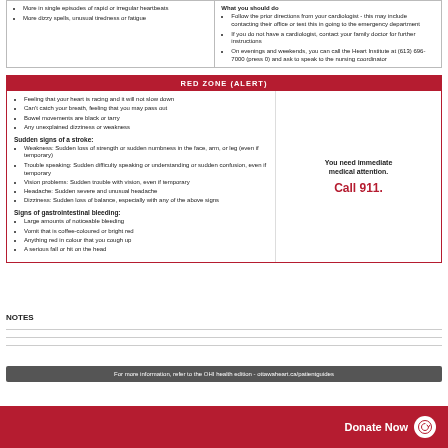More in single episodes of rapid or irregular heartbeats
More dizzy spells, unusual tiredness or fatigue
What you should do
Follow the prior directions from your cardiologist - this may include contacting their office or test this in going to the emergency department
If you do not have a cardiologist, contact your family doctor for further instructions
On evenings and weekends, you can call the Heart Institute at (613) 696-7000 (press 0) and ask to speak to the nursing coordinator
RED ZONE (ALERT)
Feeling that your heart is racing and it will not slow down
Can't catch your breath, feeling that you may pass out
Bowel movements are black or tarry
Any unexplained dizziness or weakness
Sudden signs of a stroke:
Weakness: Sudden loss of strength or sudden numbness in the face, arm, or leg (even if temporary)
Trouble speaking: Sudden difficulty speaking or understanding or sudden confusion, even if temporary
Vision problems: Sudden trouble with vision, even if temporary
Headache: Sudden severe and unusual headache
Dizziness: Sudden loss of balance, especially with any of the above signs
Signs of gastrointestinal bleeding:
Large amounts of noticeable bleeding
Vomit that is coffee-coloured or bright red
Anything red in colour that you cough up
A serious fall or hit on the head
You need immediate medical attention.

Call 911.
NOTES
For more information, refer to the OHI health edition - ottawaheart.ca/patientguides
Donate Now